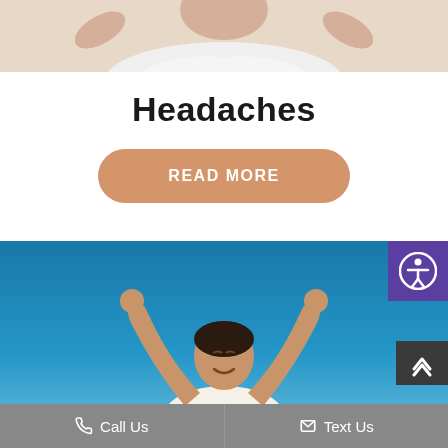[Figure (photo): Top cropped photo of a person with hands on head, white background, partial view of upper body]
Headaches
READ MORE
[Figure (photo): Woman with dark hair in white top, arms raised in celebration against a bright blue sky background. Accessibility icon in top right corner. Scroll-to-top arrow button at bottom right.]
Call Us   Text Us